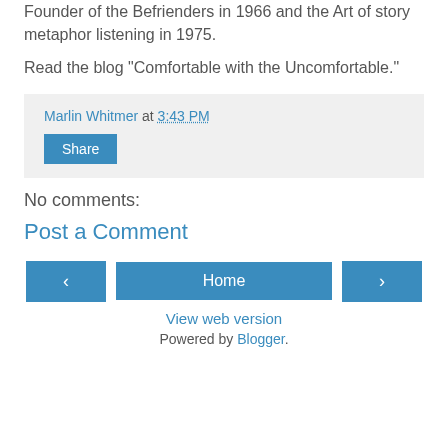Founder of the Befrienders in 1966 and the Art of story metaphor listening in 1975.
Read the blog "Comfortable with the Uncomfortable."
Marlin Whitmer at 3:43 PM
Share
No comments:
Post a Comment
‹  Home  ›
View web version
Powered by Blogger.